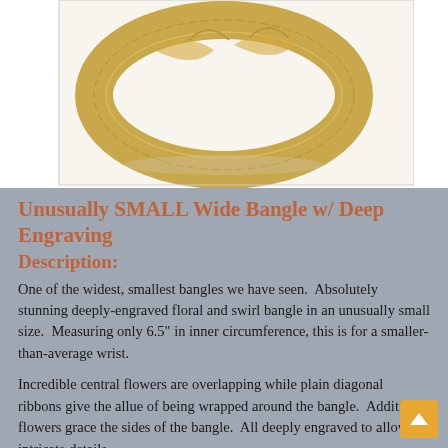[Figure (photo): A gold wide bangle bracelet with deep floral and swirl engraving, shown close-up on a white background.]
Unusually SMALL Wide Bangle w/ Deep Engraving
Description:
One of the widest, smallest bangles we have seen.  Absolutely stunning deeply-engraved floral and swirl bangle in an unusually small size.  Measuring only 6.5" in inner circumference, this is for a smaller-than-average wrist.
Incredible central flowers are overlapping while plain diagonal ribbons give the allue of being wrapped around the bangle.  Additional flowers grace the sides of the bangle.  All deeply engraved to allow for intricate details.